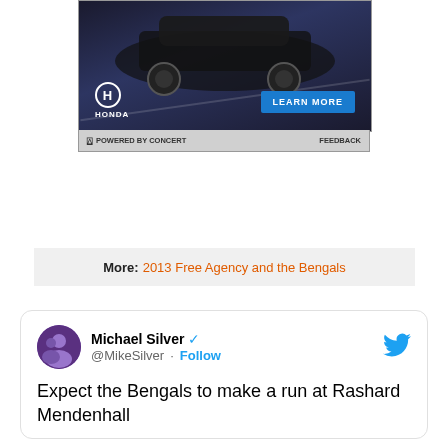[Figure (photo): Honda advertisement banner showing a dark SUV on a road at night, with Honda logo and 'LEARN MORE' button. Footer reads 'POWERED BY CONCERT' and 'FEEDBACK'.]
More: 2013 Free Agency and the Bengals
Michael Silver @MikeSilver · Follow
Expect the Bengals to make a run at Rashard Mendenhall